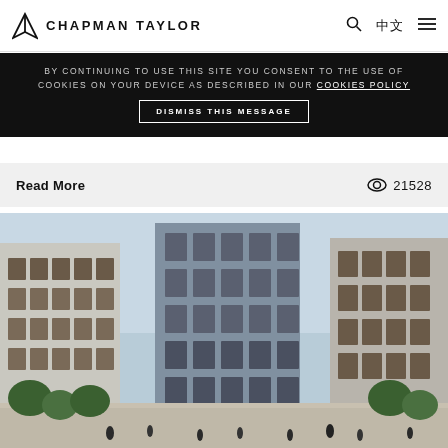CHAPMAN TAYLOR
BY CONTINUING TO USE THIS SITE YOU CONSENT TO THE USE OF COOKIES ON YOUR DEVICE AS DESCRIBED IN OUR COOKIES POLICY
DISMISS THIS MESSAGE
Read More  21528
[Figure (photo): Architectural rendering of modern residential buildings with people walking in a plaza surrounded by trees, viewed from street level between two building facades]